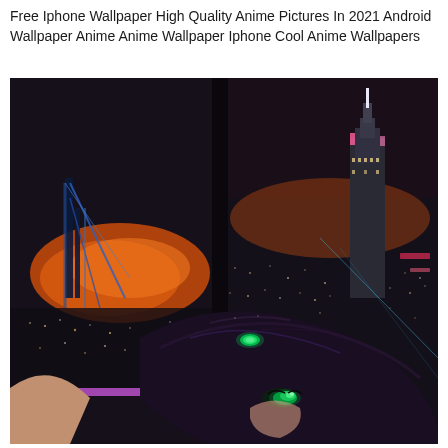Free Iphone Wallpaper High Quality Anime Pictures In 2021 Android Wallpaper Anime Anime Wallpaper Iphone Cool Anime Wallpapers
[Figure (illustration): Anime-style illustration showing a dark-haired female character with glowing green eyes in the foreground, viewed from behind/side. Background shows a dramatic nighttime cityscape visible through large windows, with orange/red fire or lights on the left side, a glowing skyscraper on the right, and a dark vertical divider between two window panels. City lights sparkle across the entire background.]